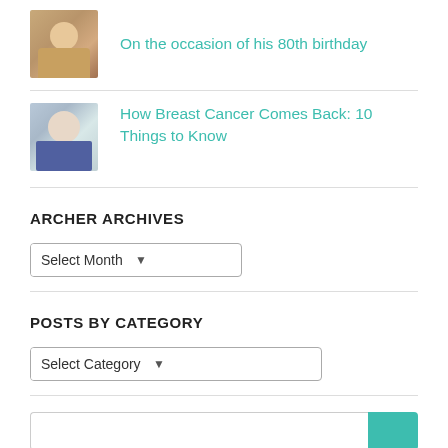On the occasion of his 80th birthday
How Breast Cancer Comes Back: 10 Things to Know
ARCHER ARCHIVES
Select Month
POSTS BY CATEGORY
Select Category